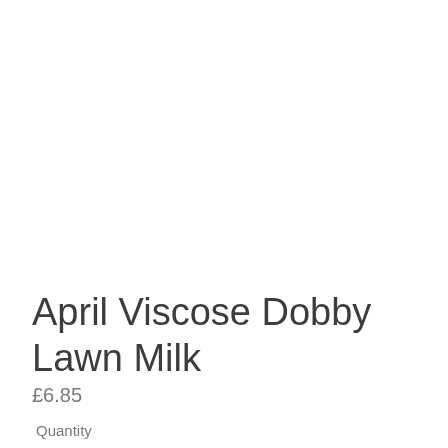April Viscose Dobby Lawn Milk
£6.85
Quantity